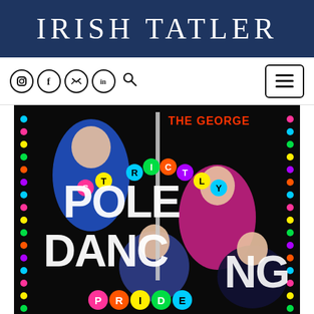IRISH TATLER
[Figure (screenshot): Navigation bar with social media icons (Instagram, Facebook, Twitter, LinkedIn), search icon, and hamburger menu button on white background]
[Figure (photo): Promotional poster for 'The George Strictly Pole Dancing Pride' event showing performers in colorful costumes against a dark background with colorful dot border lights and large text reading STRICTLY POLE DANCING with PRIDE lettered in colored circles at the bottom]